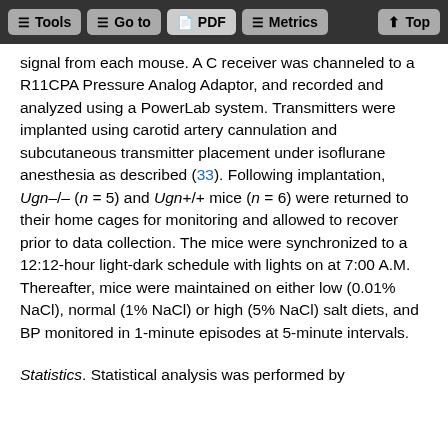Tools  Go to  PDF  Metrics  Top
signal from each mouse. A C receiver was channeled to a R11CPA Pressure Analog Adaptor, and recorded and analyzed using a PowerLab system. Transmitters were implanted using carotid artery cannulation and subcutaneous transmitter placement under isoflurane anesthesia as described (33). Following implantation, Ugn–/– (n = 5) and Ugn+/+ mice (n = 6) were returned to their home cages for monitoring and allowed to recover prior to data collection. The mice were synchronized to a 12:12-hour light-dark schedule with lights on at 7:00 A.M. Thereafter, mice were maintained on either low (0.01% NaCl), normal (1% NaCl) or high (5% NaCl) salt diets, and BP monitored in 1-minute episodes at 5-minute intervals.
Statistics. Statistical analysis was performed by